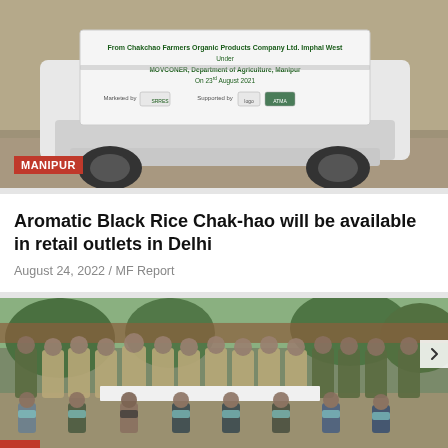[Figure (photo): A white vehicle with a banner about Aromatic Black Rice (Chak-hao) from Manipur, dated 23rd August 2021, under MOVCONER Department of Agriculture Manipur, with logos visible.]
MANIPUR
Aromatic Black Rice Chak-hao will be available in retail outlets in Delhi
August 24, 2022 / MF Report
[Figure (photo): Group photo of uniformed security personnel (police/army) standing in two rows with masked detainees squatting in front, outdoors near a building with trees in background.]